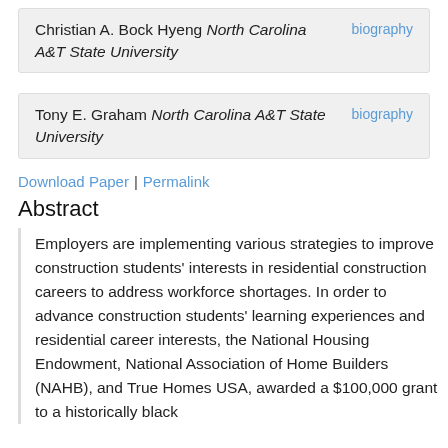Christian A. Bock Hyeng North Carolina A&T State University biography
Tony E. Graham North Carolina A&T State University biography
Download Paper | Permalink
Abstract
Employers are implementing various strategies to improve construction students' interests in residential construction careers to address workforce shortages. In order to advance construction students' learning experiences and residential career interests, the National Housing Endowment, National Association of Home Builders (NAHB), and True Homes USA, awarded a $100,000 grant to a historically black